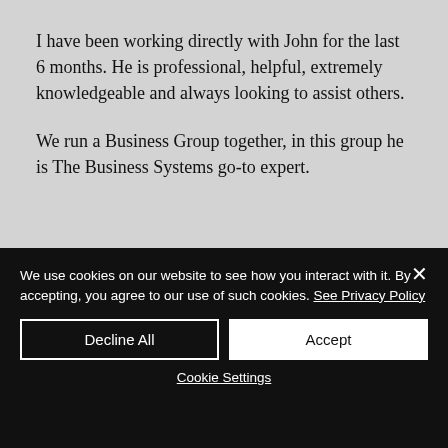I have been working directly with John for the last 6 months. He is professional, helpful, extremely knowledgeable and always looking to assist others.
We run a Business Group together, in this group he is The Business Systems go-to expert.
We use cookies on our website to see how you interact with it. By accepting, you agree to our use of such cookies. See Privacy Policy
Decline All
Accept
Cookie Settings